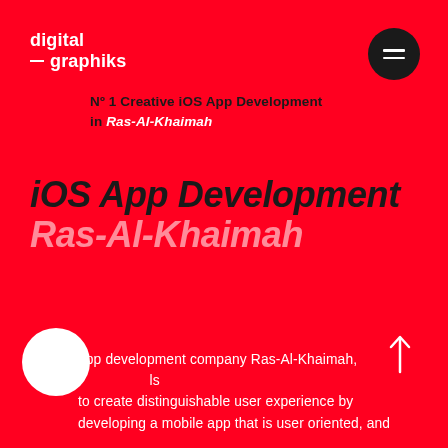digital graphiks
Nº 1 Creative iOS App Development in Ras-Al-Khaimah
iOS App Development
Ras-Al-Khaimah
app development company Ras-Al-Khaimah, to create distinguishable user experience by developing a mobile app that is user oriented, and